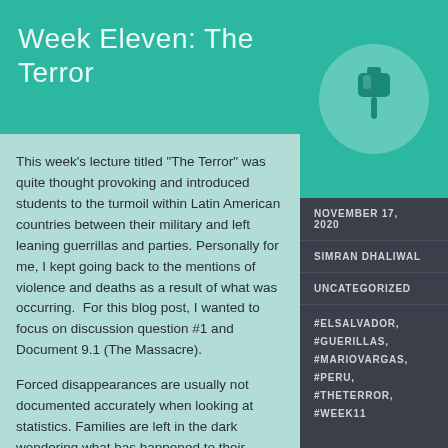Week Eleven: The Terror
[Figure (illustration): Pushpin/thumbtack icon in white inside a semi-transparent circle, on teal background]
This week’s lecture titled “The Terror” was quite thought provoking and introduced students to the turmoil within Latin American countries between their military and left leaning guerrillas and parties. Personally for me, I kept going back to the mentions of violence and deaths as a result of what was occurring. For this blog post, I wanted to focus on discussion question #1 and Document 9.1 (The Massacre).
Forced disappearances are usually not documented accurately when looking at statistics. Families are left in the dark wondering what has happened to their
NOVEMBER 17, 2020
SIMRAN DHALIWAL
UNCATEGORIZED
#ELSALVADOR, #GUERILLAS, #MARIOVARGAS, #PERU, #THETERROR, #WEEK11